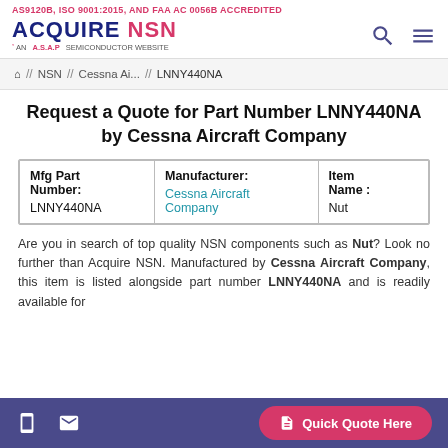AS9120B, ISO 9001:2015, AND FAA AC 0056B ACCREDITED
[Figure (logo): Acquire NSN logo with tagline 'AN A.S.A.P SEMICONDUCTOR WEBSITE']
// NSN // Cessna Ai... // LNNY440NA
Request a Quote for Part Number LNNY440NA by Cessna Aircraft Company
| Mfg Part Number: | Manufacturer: | Item Name : |
| --- | --- | --- |
| LNNY440NA | Cessna Aircraft Company | Nut |
Are you in search of top quality NSN components such as Nut? Look no further than Acquire NSN. Manufactured by Cessna Aircraft Company, this item is listed alongside part number LNNY440NA and is readily available for
Quick Quote Here